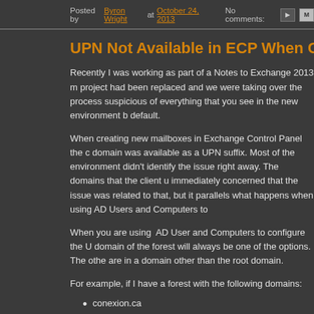Posted by Byron Wright at October 24, 2013  No comments:
UPN Not Available in ECP When Crea
Recently I was working as part of a Notes to Exchange 2013 m... project had been replaced and we were taking over the process... suspicious of everything that you see in the new environment b... default.
When creating new mailboxes in Exchange Control Panel the c... domain was available as a UPN suffix. Most of the environment... didn't identify the issue right away. The domains that the client u... immediately concerned that the issue was related to that, but it... parallels what happens when using AD Users and Computers to
When you are using AD User and Computers to configure the U... domain of the forest will always be one of the options. The othe... are in a domain other than the root domain.
For example, if I have a forest with the following domains:
conexion.ca